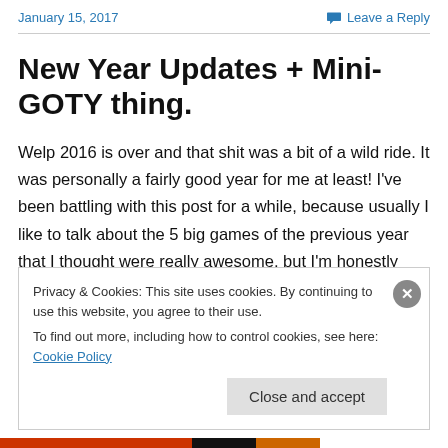January 15, 2017   Leave a Reply
New Year Updates + Mini-GOTY thing.
Welp 2016 is over and that shit was a bit of a wild ride. It was personally a fairly good year for me at least! I’ve been battling with this post for a while, because usually I like to talk about the 5 big games of the previous year that I thought were really awesome, but I’m honestly struggling
Privacy & Cookies: This site uses cookies. By continuing to use this website, you agree to their use.
To find out more, including how to control cookies, see here: Cookie Policy
Close and accept